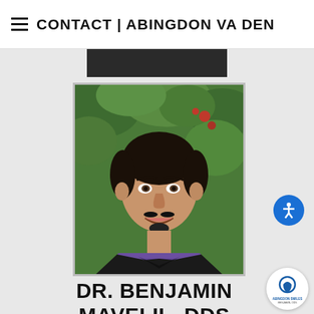≡ CONTACT | ABINGDON VA DEN
[Figure (photo): Portrait photo of Dr. Benjamin Mavelil, a young man smiling, with dark hair pulled back, beard, wearing a dark jacket and purple shirt, with green foliage in the background.]
DR. BENJAMIN MAVELIL, DDS
Dr. Mavelil was born and raised in Dubai. He was born to Indian first-